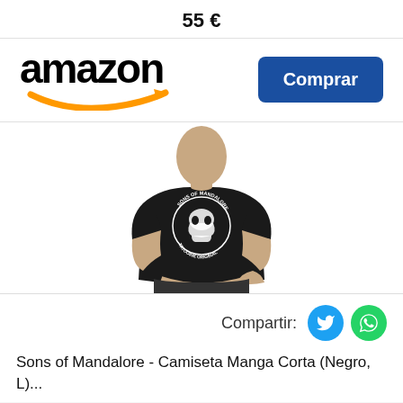55 €
[Figure (logo): Amazon logo with orange arrow swoosh and a blue Comprar (Buy) button]
[Figure (photo): Man wearing a black t-shirt with Sons of Mandalore / Tatooine Original graphic print]
Compartir:
Sons of Mandalore - Camiseta Manga Corta (Negro, L)...